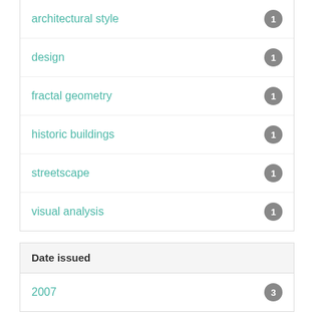architectural style	1
design	1
fractal geometry	1
historic buildings	1
streetscape	1
visual analysis	1
Date issued
2007	3
Has File(s)
true	3